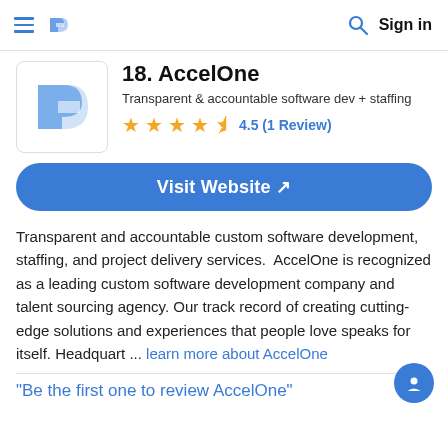≡ [logo] [search] Sign in
18. AccelOne
Transparent & accountable software dev + staffing
4.5 (1 Review)
Visit Website ↗
Transparent and accountable custom software development, staffing, and project delivery services.  AccelOne is recognized as a leading custom software development company and talent sourcing agency. Our track record of creating cutting-edge solutions and experiences that people love speaks for itself. Headquart ... learn more about AccelOne
"Be the first one to review AccelOne"